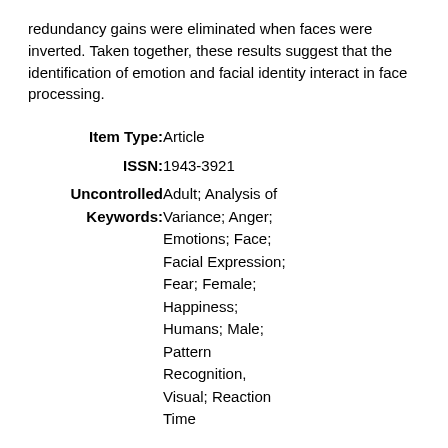redundancy gains were eliminated when faces were inverted. Taken together, these results suggest that the identification of emotion and facial identity interact in face processing.
| Item Type: | Article |
| ISSN: | 1943-3921 |
| Uncontrolled Keywords: | Adult; Analysis of Variance; Anger; Emotions; Face; Facial Expression; Fear; Female; Happiness; Humans; Male; Pattern Recognition, Visual; Reaction Time |